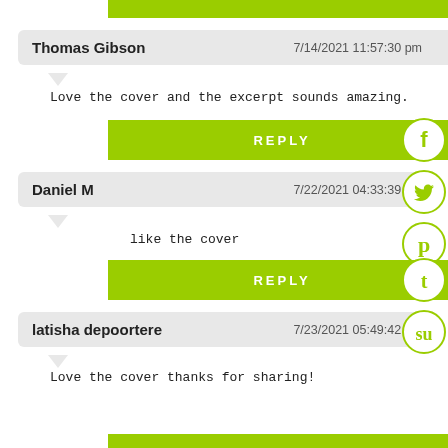Thomas Gibson   7/14/2021 11:57:30 pm
Love the cover and the excerpt sounds amazing.
REPLY
Daniel M   7/22/2021 04:33:39 pm
like the cover
REPLY
latisha depoortere   7/23/2021 05:49:42 pm
Love the cover thanks for sharing!